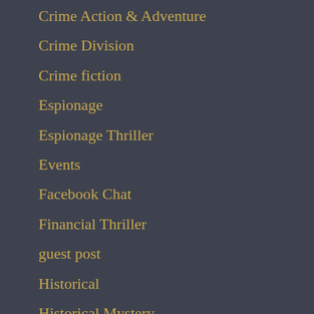Crime Action & Adventure
Crime Division
Crime fiction
Espionage
Espionage Thriller
Events
Facebook Chat
Financial Thriller
guest post
Historical
Historical Mystery
In the News
Interview